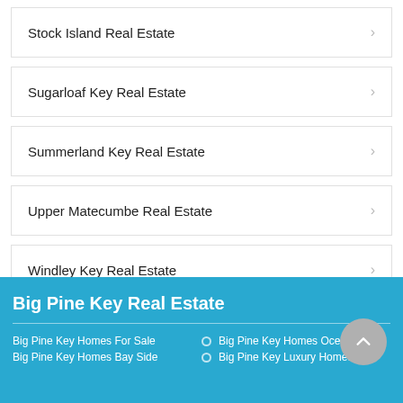Stock Island Real Estate
Sugarloaf Key Real Estate
Summerland Key Real Estate
Upper Matecumbe Real Estate
Windley Key Real Estate
Big Pine Key Real Estate
Big Pine Key Homes For Sale
Big Pine Key Homes Bay Side
Big Pine Key Homes Ocean Side
Big Pine Key Luxury Homes